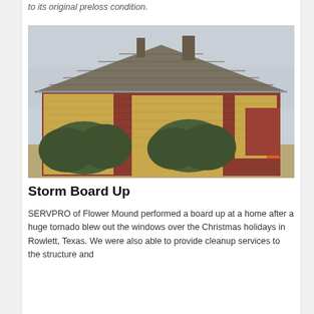to its original preloss condition.
[Figure (photo): Exterior of a brick house with windows boarded up with plywood panels after tornado damage. Shrubs in front yard, gray sky overhead, grey shingled roof.]
Storm Board Up
SERVPRO of Flower Mound performed a board up at a home after a huge tornado blew out the windows over the Christmas holidays in Rowlett, Texas. We were also able to provide cleanup services to the structure and